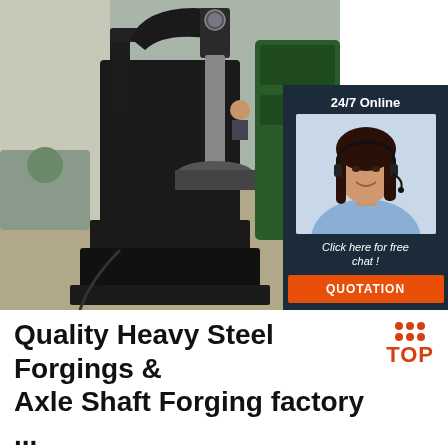[Figure (photo): Industrial steel forging machine in a factory setting, large black heavy-duty press/hammer machine. Overlay in top right shows a customer service agent with headset, dark blue background panel with '24/7 Online' label, 'Click here for free chat!' text, and orange 'QUOTATION' button.]
Quality Heavy Steel Forgings & Axle Shaft Forging factory ...
316L 4500mm Stainless Steel Forging Tube Sheets For Heat Exchanger. Forging Ratio: ≥3.5 ... 5000mm ASTM Carbon Steel Heat Exchanger Baffle Plate: ... Heavy